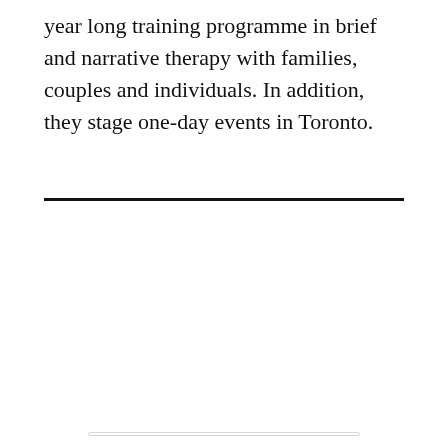year long training programme in brief and narrative therapy with families, couples and individuals. In addition, they stage one-day events in Toronto.
[Figure (screenshot): Twitter widget showing tweets from @SuicidesStop. Contains a retweet by John Henden of a tweet by Julie Ce... (@juliece...) from Oct 1, 2018 saying: 'Please consider participating in this survey if you are a mental health professional and have or have not experienced the suicide of a patient #aas365 @AASuicidology'. Includes Follow button and action icons with 4 likes.]